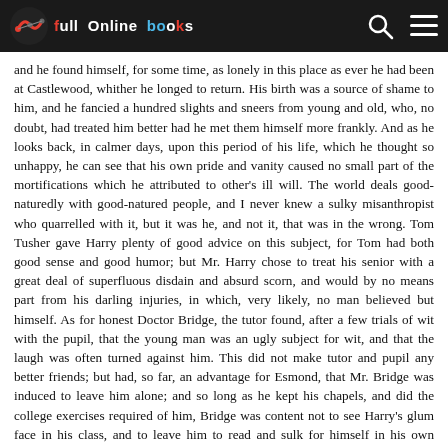Full Online Books
and he found himself, for some time, as lonely in this place as ever he had been at Castlewood, whither he longed to return. His birth was a source of shame to him, and he fancied a hundred slights and sneers from young and old, who, no doubt, had treated him better had he met them himself more frankly. And as he looks back, in calmer days, upon this period of his life, which he thought so unhappy, he can see that his own pride and vanity caused no small part of the mortifications which he attributed to other's ill will. The world deals good-naturedly with good-natured people, and I never knew a sulky misanthropist who quarrelled with it, but it was he, and not it, that was in the wrong. Tom Tusher gave Harry plenty of good advice on this subject, for Tom had both good sense and good humor; but Mr. Harry chose to treat his senior with a great deal of superfluous disdain and absurd scorn, and would by no means part from his darling injuries, in which, very likely, no man believed but himself. As for honest Doctor Bridge, the tutor found, after a few trials of wit with the pupil, that the young man was an ugly subject for wit, and that the laugh was often turned against him. This did not make tutor and pupil any better friends; but had, so far, an advantage for Esmond, that Mr. Bridge was induced to leave him alone; and so long as he kept his chapels, and did the college exercises required of him, Bridge was content not to see Harry's glum face in his class, and to leave him to read and sulk for himself in his own chamber.
A poem or two in Latin and English, which were pronounced to have some merit, and a Latin oration, (for Mr. Esmond could write that language better than pronounce it,) got him a little reputation both with the authorities of the University and amongst the young men, with whom he began to pass for more than he was worth. A few victories over their common enemy, Mr. Bridge, made them incline towards him, and look